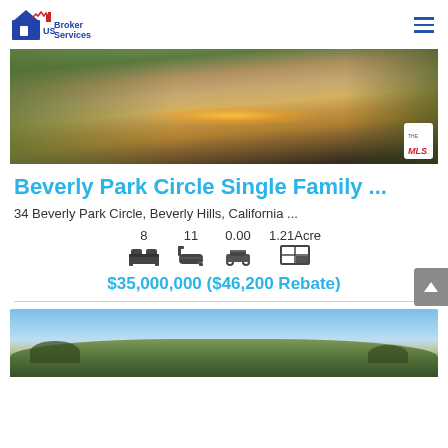US Broker Services
[Figure (photo): Outdoor fireplace/fire feature at dusk with landscaping and hedges visible]
Beverly Park Circle Single Family ...
34 Beverly Park Circle, Beverly Hills, California ...
[Figure (infographic): Property stats: 8 beds icon, 11 baths icon, 0.00 garage icon, 1.21 Acre lot icon]
$35,000,000 ($46,200 Rebate)
[Figure (photo): Aerial/landscape photo showing hills and sky, bottom of page]